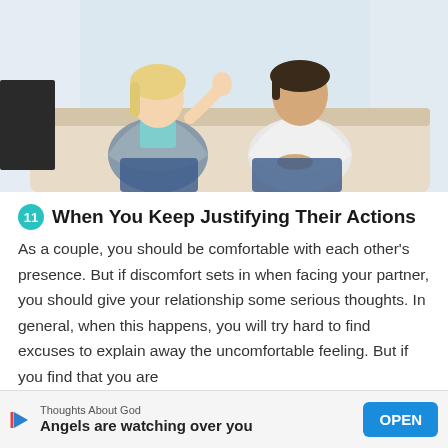[Figure (photo): A couple sitting on a couch, turned away from each other. The woman on the left has blonde hair and is wearing a grey cardigan over a teal top; she has one hand raised gesturing. The man on the right has dark hair and is wearing a white polo shirt; he sits with hands clasped, looking downward. Light background with curtains visible.]
11 When You Keep Justifying Their Actions
As a couple, you should be comfortable with each other's presence. But if discomfort sets in when facing your partner, you should give your relationship some serious thoughts. In general, when this happens, you will try hard to find excuses to explain away the uncomfortable feeling. But if you find that you are
Thoughts About God | Angels are watching over you | OPEN